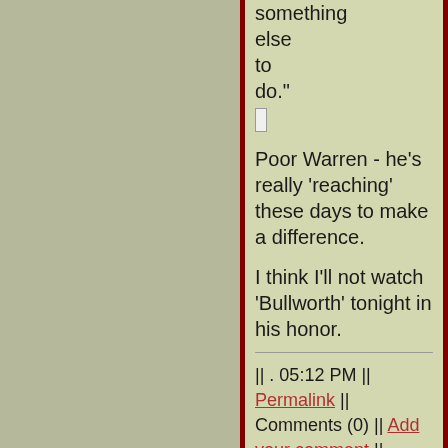something else to do."
Poor Warren - he's really 'reaching' these days to make a difference.
I think I'll not watch 'Bullworth' tonight in his honor.
|| . 05:12 PM || Permalink || Comments (0) || Add your comment || TrackBacks (0) ||
Trackback